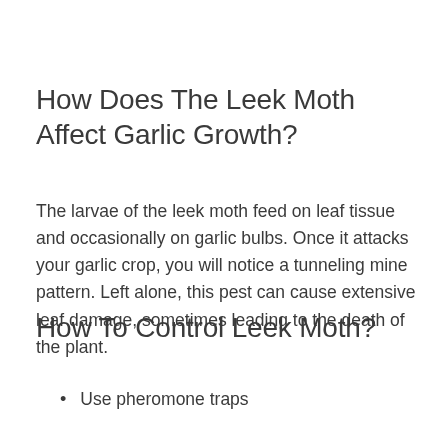How Does The Leek Moth Affect Garlic Growth?
The larvae of the leek moth feed on leaf tissue and occasionally on garlic bulbs. Once it attacks your garlic crop, you will notice a tunneling mine pattern. Left alone, this pest can cause extensive leaf damage, sometimes leading to the death of the plant.
How To Control Leek Moth?
Use pheromone traps